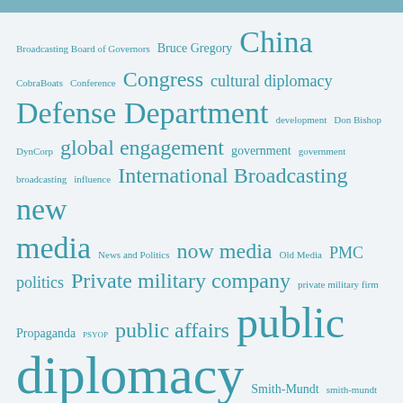[Figure (other): Tag cloud related to public diplomacy, government communications, and related topics. Terms include: Broadcasting Board of Governors, Bruce Gregory, China, CobraBoats, Conference, Congress, cultural diplomacy, Defense Department, development, Don Bishop, DynCorp, global engagement, government, government broadcasting, influence, International Broadcasting, new media, News and Politics, now media, Old Media, PMC, politics, Private military company, private military firm, Propaganda, PSYOP, public affairs, public diplomacy, Smith-Mundt, smith-mundt act, Social Media, State Department, Strategic Communication, technology, terrorism, Top Cat Marine Security, Topcat Marine Security, USAID, USIA, VOA]